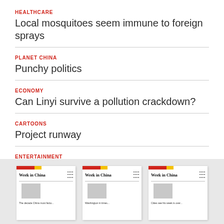HEALTHCARE
Local mosquitoes seem immune to foreign sprays
PLANET CHINA
Punchy politics
ECONOMY
Can Linyi survive a pollution crackdown?
CARTOONS
Project runway
ENTERTAINMENT
Two Chinese animated movies prove major hits at box office
[Figure (illustration): Three magazine covers of 'Week in China' shown in a gray background section at the bottom of the page, with partial captions visible below each.]